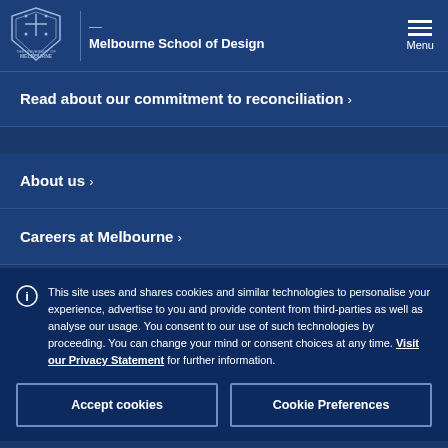Melbourne School of Design | Menu
Read about our commitment to reconciliation ›
About us ›
Careers at Melbourne ›
This site uses and shares cookies and similar technologies to personalise your experience, advertise to you and provide content from third-parties as well as analyse our usage. You consent to our use of such technologies by proceeding. You can change your mind or consent choices at any time. Visit our Privacy Statement for further information.
Accept cookies
Cookie Preferences